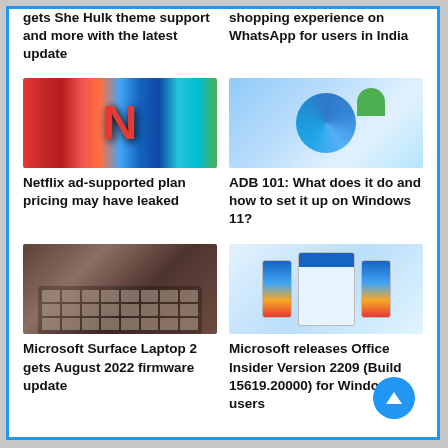gets She Hulk theme support and more with the latest update
shopping experience on WhatsApp for users in India
[Figure (photo): Netflix logo with colorful vertical stripes background]
Netflix ad-supported plan pricing may have leaked
[Figure (photo): Green Android robot on top of Windows 11 swirl logo on blue background]
ADB 101: What does it do and how to set it up on Windows 11?
[Figure (photo): Microsoft Surface Laptop 2 keyboard close-up in burgundy/dark red color]
Microsoft Surface Laptop 2 gets August 2022 firmware update
[Figure (photo): Microsoft Office apps displayed on phones and tablet]
Microsoft releases Office Insider Version 2209 (Build 15619.20000) for Windows users